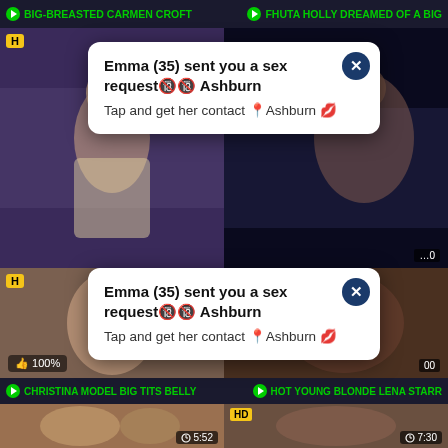BIG-BREASTED CARMEN CROFT | FHUTA HOLLY DREAMED OF A BIG
[Figure (screenshot): Video thumbnail left - blonde woman]
[Figure (screenshot): Video thumbnail right - dark scene]
Emma (35) sent you a sex request🔞🔞 Ashburn
Tap and get her contact 📍Ashburn 💋
Emma (35) sent you a sex request🔞🔞 Ashburn
Tap and get her contact 📍Ashburn 💋
[Figure (screenshot): Video thumbnail - woman posing, 100% like]
[Figure (screenshot): Video thumbnail - couple]
CHRISTINA MODEL BIG TITS BELLY | HOT YOUNG BLONDE LENA STARR
[Figure (screenshot): Bottom left thumbnail, duration 5:52]
[Figure (screenshot): Bottom right thumbnail HD, duration 7:30]